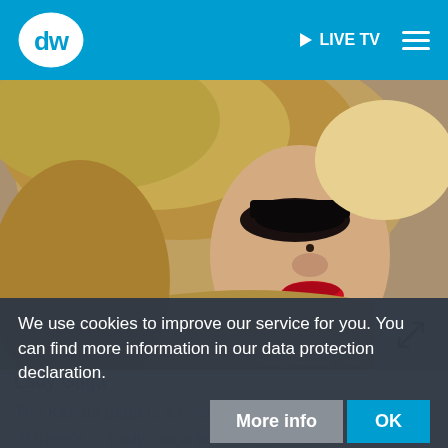[Figure (screenshot): DW (Deutsche Welle) website header with blue background, DW logo on left, LIVE TV link and hamburger menu on right]
[Figure (photo): Close-up photo of Lady Gaga wearing an elaborate gold feathered headdress, dramatic eye makeup, and red lipstick. Photo credit: picture-alliance/dpa/...]
We use cookies to improve our service for you. You can find more information in our data protection declaration.
Lady Gaga
The Kakaia gaga is a new species of treehoppers: "If there's ... Lady Gaga bug, it's going to be a treehopper,